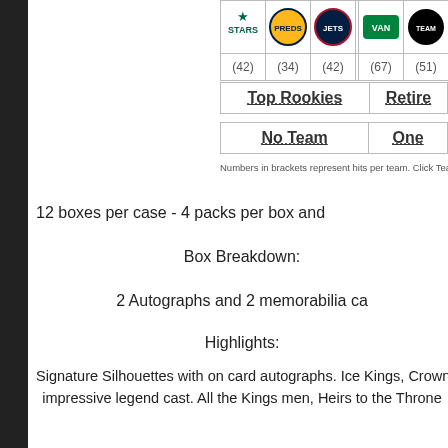| Stars | Predators | Jets |  | Canucks |  |
| --- | --- | --- | --- | --- | --- |
| (42) | (34) | (42) |  | (67) | (51) |
Top Rookies | Retire...
No Team | One...
Numbers in brackets represent hits per team. Click Teams
12 boxes per case - 4 packs per box and
Box Breakdown:
2 Autographs and 2 memorabilia ca
Highlights:
Signature Silhouettes with on card autographs. Ice Kings, Crown impressive legend cast. All the Kings men, Heirs to the Throne
Most Sets per team
Philadelphia Flyers
Los Angeles Kings